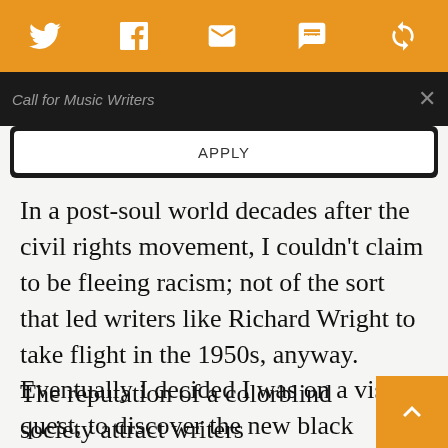Social share icons bar: Twitter, Facebook, Email, SMS, other
Call for Music Writers  ×
APPLY
In a post-soul world decades after the civil rights movement, I couldn't claim to be fleeing racism; not of the sort that led writers like Richard Wright to take flight in the 1950s, anyway. Eventually I decided I was on a vision quest, to discover the new black American vanguard of Paris in the 21st century.
The reputation of a colorblind society attract writers Langston Hughes, Claude McKay, and